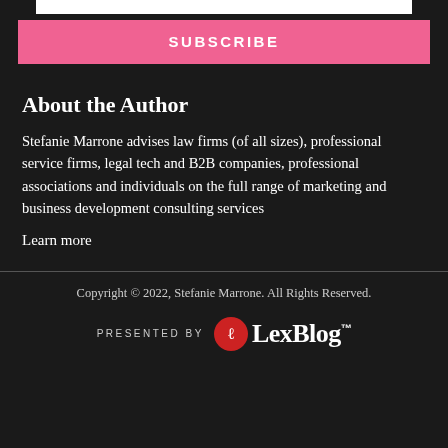[Figure (other): White bar at top (subscribe form top border)]
SUBSCRIBE
About the Author
Stefanie Marrone advises law firms (of all sizes), professional service firms, legal tech and B2B companies, professional associations and individuals on the full range of marketing and business development consulting services
Learn more
Copyright © 2022, Stefanie Marrone. All Rights Reserved.
[Figure (logo): PRESENTED BY LexBlog logo with red circle icon]